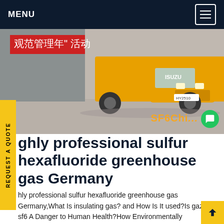MENU
[Figure (photo): Yellow ISUZU truck parked in a Chinese industrial yard with Chinese text on a red banner in the background. SF6China watermark visible in orange.]
highly professional sulfur hexafluoride greenhouse gas Germany
highly professional sulfur hexafluoride greenhouse gas Germany,What Is insulating gas? and How Is It used?Is gaz sf6 A Danger to Human Health?How Environmentally Damaging Is It?Has The